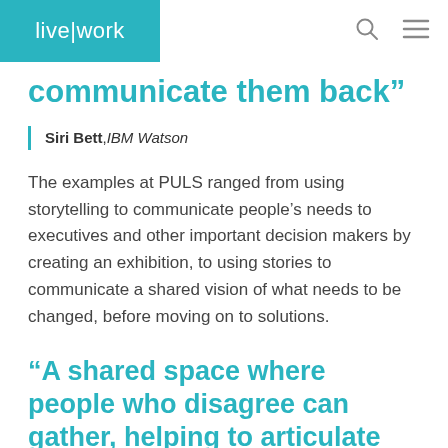live|work
communicate them back”
Siri Bett , IBM Watson
The examples at PULS ranged from using storytelling to communicate people’s needs to executives and other important decision makers by creating an exhibition, to using stories to communicate a shared vision of what needs to be changed, before moving on to solutions.
“A shared space where people who disagree can gather, helping to articulate the vision and the case for change.”